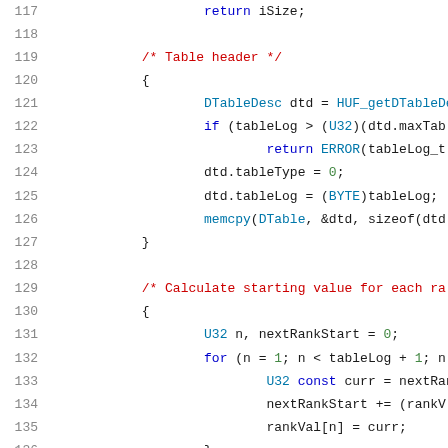[Figure (screenshot): Source code listing lines 117-137 showing C code for table header processing and rank value calculation, with line numbers on left and syntax-highlighted code on right]